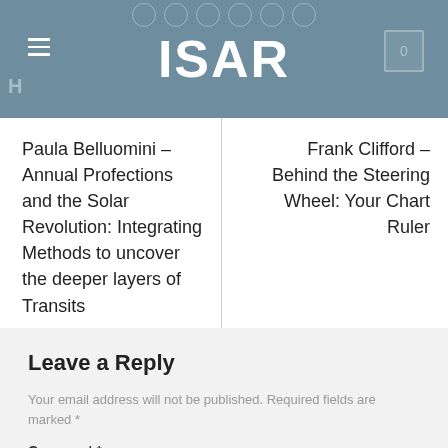ISAR
Paula Belluomini – Annual Profections and the Solar Revolution: Integrating Methods to uncover the deeper layers of Transits
Frank Clifford – Behind the Steering Wheel: Your Chart Ruler
Leave a Reply
Your email address will not be published. Required fields are marked *
Comment *